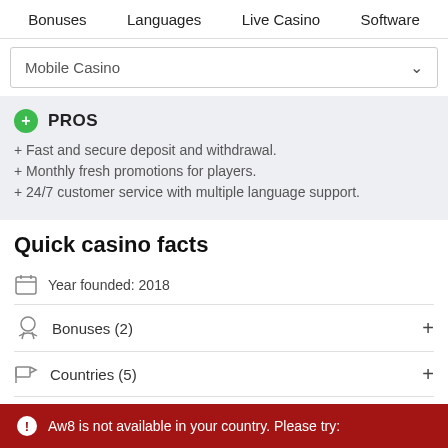Bonuses   Languages   Live Casino   Software
Mobile Casino
PROS
+ Fast and secure deposit and withdrawal.
+ Monthly fresh promotions for players.
+ 24/7 customer service with multiple language support.
Quick casino facts
Year founded: 2018
Bonuses (2)
Countries (5)
Currencies (4)
Aw8 is not available in your country. Please try: